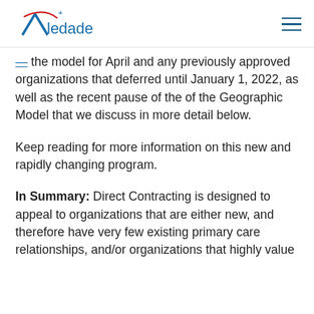Aledade
the model for April and any previously approved organizations that deferred until January 1, 2022, as well as the recent pause of the of the Geographic Model that we discuss in more detail below.
Keep reading for more information on this new and rapidly changing program.
In Summary: Direct Contracting is designed to appeal to organizations that are either new, and therefore have very few existing primary care relationships, and/or organizations that highly value